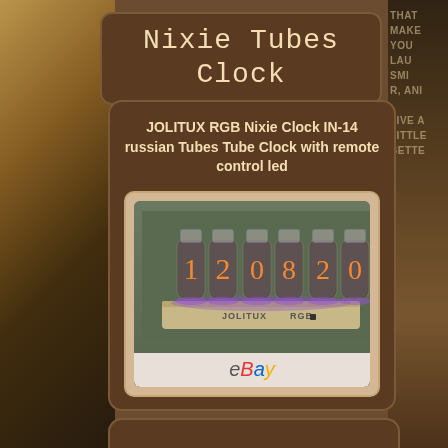Nixie Tubes Clock
JOLITUX RGB Nixie Clock IN-14 russian Tubes Tube Clock with remote control led
[Figure (photo): Photo of a Nixie tube clock with 6 IN-14 tubes displaying 12:08:20, with purple RGB LED glow, wooden base labeled JOLITUX RGB, with eBay watermark below]
[Figure (photo): Partially visible bottom product card/image (cropped at page bottom)]